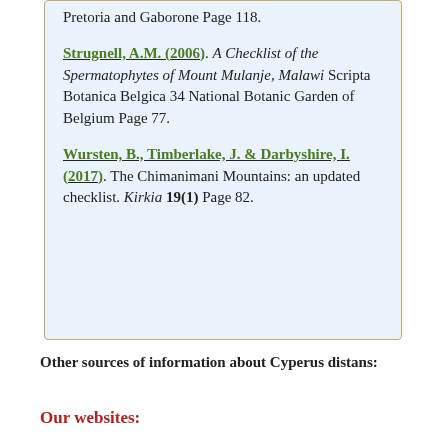Pretoria and Gaborone Page 118.
Strugnell, A.M. (2006). A Checklist of the Spermatophytes of Mount Mulanje, Malawi Scripta Botanica Belgica 34 National Botanic Garden of Belgium Page 77.
Wursten, B., Timberlake, J. & Darbyshire, I. (2017). The Chimanimani Mountains: an updated checklist. Kirkia 19(1) Page 82.
Other sources of information about Cyperus distans:
Our websites: